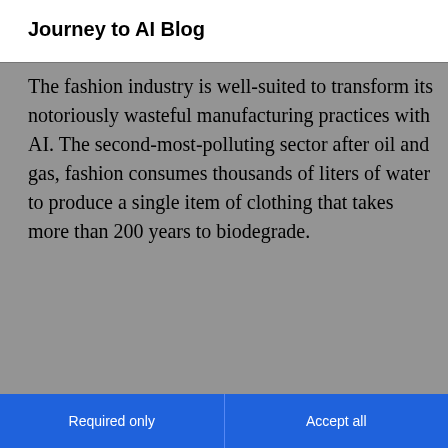Journey to AI Blog
The fashion industry is well-suited to transform its notoriously wasteful manufacturing practices with AI. The second-most-polluting sector after oil and gas, fashion consumes thousands of liters of water to produce a single item of clothing that takes more than 200 years to biodegrade.
About cookies on this site
Our websites require some cookies to function properly (required). In addition, other cookies may be used with your consent to analyze site usage, improve the user experience and for advertising.

For more information, please review your Cookie preferences options and IBM's privacy statement.
Required only
Accept all